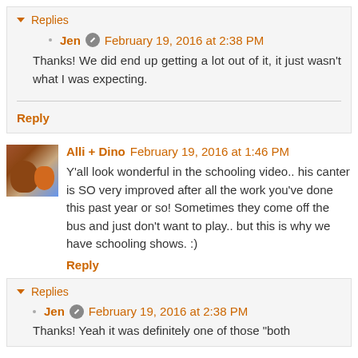Replies
Jen · February 19, 2016 at 2:38 PM
Thanks! We did end up getting a lot out of it, it just wasn't what I was expecting.
Reply
Alli + Dino  February 19, 2016 at 1:46 PM
Y'all look wonderful in the schooling video.. his canter is SO very improved after all the work you've done this past year or so! Sometimes they come off the bus and just don't want to play.. but this is why we have schooling shows. :)
Reply
Replies
Jen · February 19, 2016 at 2:38 PM
Thanks! Yeah it was definitely one of those "both